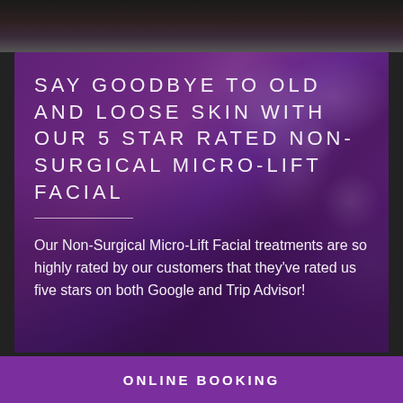[Figure (photo): Dark photo strip at the top of the page, showing a dark background, partial view of a face or floral element]
[Figure (photo): Purple floral background image showing close-up purple/lavender flowers with soft focus, overlaid with text]
SAY GOODBYE TO OLD AND LOOSE SKIN WITH OUR 5 STAR RATED NON-SURGICAL MICRO-LIFT FACIAL
Our Non-Surgical Micro-Lift Facial treatments are so highly rated by our customers that they've rated us five stars on both Google and Trip Advisor!
ONLINE BOOKING